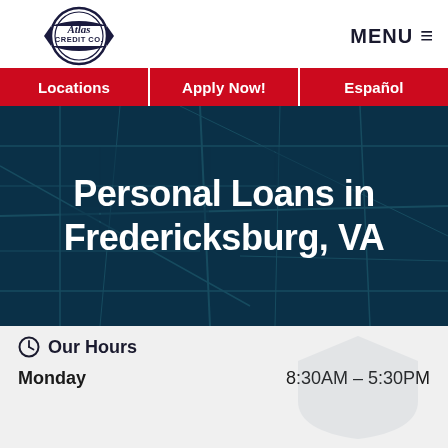[Figure (logo): Atlas Credit Co. Inc. logo with banner/ribbon style design in navy blue]
MENU ☰
Locations
Apply Now!
Español
Personal Loans in Fredericksburg, VA
Our Hours
Monday    8:30AM – 5:30PM